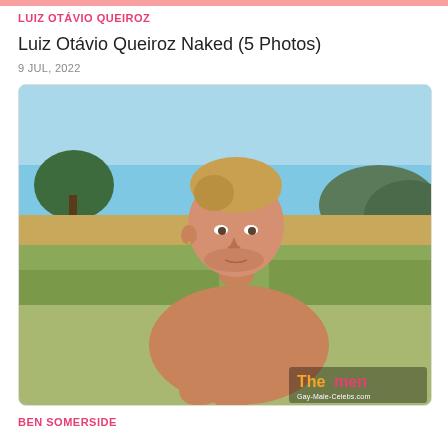LUIZ OTÁVIO QUEIROZ
Luiz Otávio Queiroz Naked (5 Photos)
9 JUL, 2022
[Figure (photo): Shirtless young man with blonde hair lying on grass outdoors in a sunny landscape, resting his chin on his fist, looking at camera. Trees and hills visible in background. Watermark reads 'The men' with Gay-Male-Celebs.com below.]
BEN SOMERSIDE